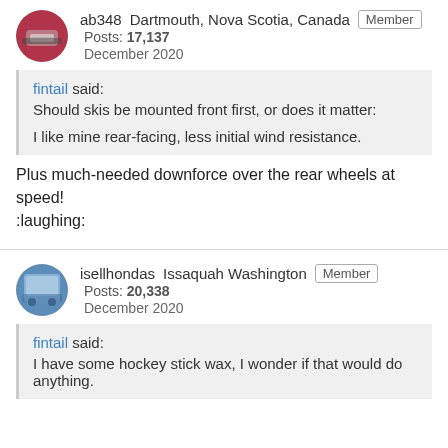ab348  Dartmouth, Nova Scotia, Canada  Member
Posts: 17,137
December 2020
fintail said:
Should skis be mounted front first, or does it matter:

I like mine rear-facing, less initial wind resistance.
Plus much-needed downforce over the rear wheels at speed! :laughing:
isellhondas  Issaquah Washington  Member
Posts: 20,338
December 2020
fintail said:
I have some hockey stick wax, I wonder if that would do anything.